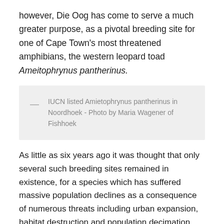however, Die Oog has come to serve a much greater purpose, as a pivotal breeding site for one of Cape Town's most threatened amphibians, the western leopard toad Ameitophrynus pantherinus.
IUCN listed Amietophrynus pantherinus in Noordhoek - Photo by Maria Wagener of Fishhoek
As little as six years ago it was thought that only several such breeding sites remained in existence, for a species which has suffered massive population declines as a consequence of numerous threats including urban expansion, habitat destruction and population decimation through road kills. Today, conservationists and scientists with the aid of concerned volunteers and the public have listed a total of 52 breeding sites within the Cape Town range of the species. Further eastwards, some 150 kilometres away from southern Cape Town, a largely unprotected population